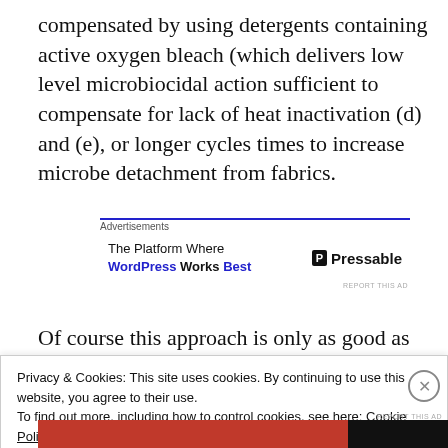compensated by using detergents containing active oxygen bleach (which delivers low level microbiocidal action sufficient to compensate for lack of heat inactivation (d) and (e), or longer cycles times to increase microbe detachment from fabrics.
[Figure (other): Advertisement banner: 'The Platform Where WordPress Works Best' with Pressable logo]
Of course this approach is only as good as the
Privacy & Cookies: This site uses cookies. By continuing to use this website, you agree to their use. To find out more, including how to control cookies, see here: Cookie Policy
Close and accept